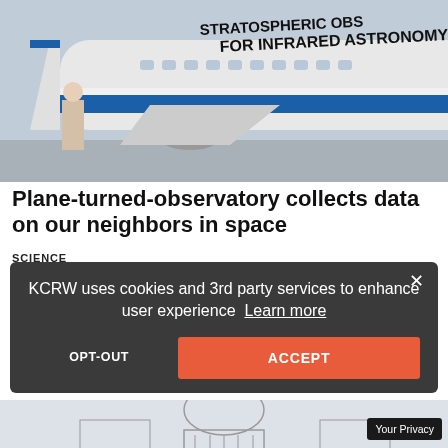[Figure (photo): Side view of a large white and blue aircraft with text reading 'STRATOSPHERIC OBSERVATORY FOR INFRARED ASTRONOMY' on the fuselage]
Plane-turned-observatory collects data on our neighbors in space
SCIENCE
The world's only flying deep-space telescope zigzags over the Pacific, taking images from a hole in the side of the plane. The program is set to end this fall.
KCRW uses cookies and 3rd party services to enhance user experience  Learn more
[Figure (screenshot): Partial view of a second article with illustration of a government building (Capitol dome)]